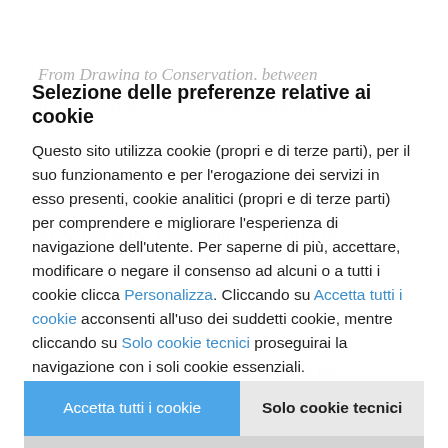From Drawing to Conservation, between Rome and Naples. Ferdinando Mazzanti and unification Italy At the end of the 19th century the activity of Mazzanti (Roma 1839 - 1909) gives a significant example of a fruitful cross between medievalist archaeological and artful study of the monument and working on it. The young commitment at the Appia Antica as a tool for Engineering reflected on his scientific production, oriented to exploring the forms of architecture and art of the early Christianity
Selezione delle preferenze relative ai cookie
Questo sito utilizza cookie (propri e di terze parti), per il suo funzionamento e per l'erogazione dei servizi in esso presenti, cookie analitici (propri e di terze parti) per comprendere e migliorare l'esperienza di navigazione dell'utente. Per saperne di più, accettare, modificare o negare il consenso ad alcuni o a tutti i cookie clicca Personalizza. Cliccando su Accetta tutti i cookie acconsenti all'uso dei suddetti cookie, mentre cliccando su Solo cookie tecnici proseguirai la navigazione con i soli cookie essenziali.
Accetta tutti i cookie
Solo cookie tecnici
Personalizza